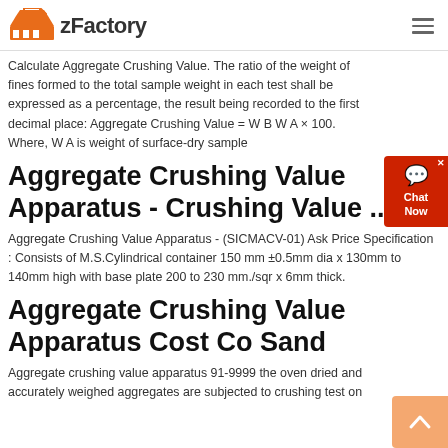zFactory
Calculate Aggregate Crushing Value. The ratio of the weight of fines formed to the total sample weight in each test shall be expressed as a percentage, the result being recorded to the first decimal place: Aggregate Crushing Value = W B W A × 100. Where, W A is weight of surface-dry sample
Aggregate Crushing Value Apparatus - Crushing Value ...
Aggregate Crushing Value Apparatus - (SICMACV-01) Ask Price Specification : Consists of M.S.Cylindrical container 150 mm ±0.5mm dia x 130mm to 140mm high with base plate 200 to 230 mm./sqr x 6mm thick.
Aggregate Crushing Value Apparatus Cost Co Sand
Aggregate crushing value apparatus 91-9999 the oven dried and accurately weighed aggregates are subjected to crushing test on